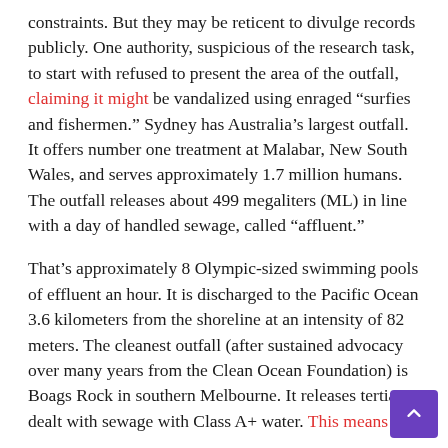constraints. But they may be reticent to divulge records publicly. One authority, suspicious of the research task, to start with refused to present the area of the outfall, claiming it might be vandalized using enraged “surfies and fishermen.” Sydney has Australia’s largest outfall. It offers number one treatment at Malabar, New South Wales, and serves approximately 1.7 million humans. The outfall releases about 499 megaliters (ML) in line with a day of handled sewage, called “affluent.”
That’s approximately 8 Olympic-sized swimming pools of effluent an hour. It is discharged to the Pacific Ocean 3.6 kilometers from the shoreline at an intensity of 82 meters. The cleanest outfall (after sustained advocacy over many years from the Clean Ocean Foundation) is Boags Rock in southern Melbourne. It releases tertiary-dealt with sewage with Class A+ water. This means the